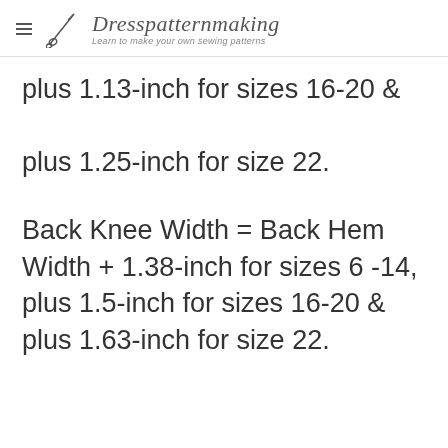Dresspatternmaking — Learn to make your own sewing patterns
plus 1.13-inch for sizes 16-20 & plus 1.25-inch for size 22.
Back Knee Width = Back Hem Width + 1.38-inch for sizes 6 -14, plus 1.5-inch for sizes 16-20 & plus 1.63-inch for size 22.